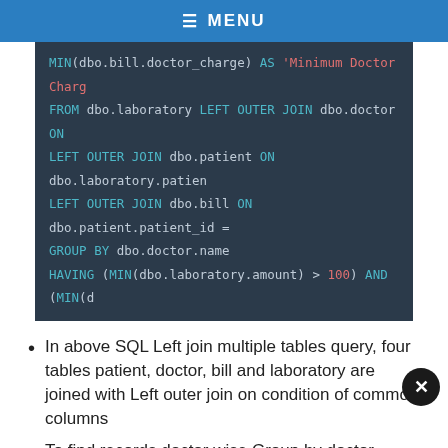☰ MENU
[Figure (screenshot): SQL code block showing MIN(dbo.bill.doctor_charge) AS 'Minimum Doctor Charge', FROM dbo.laboratory LEFT OUTER JOIN dbo.doctor ON, LEFT OUTER JOIN dbo.patient ON dbo.laboratory.patient, LEFT OUTER JOIN dbo.bill ON dbo.patient.patient_id =, GROUP BY dbo.doctor.name, HAVING (MIN(dbo.laboratory.amount) > 100) AND (MIN(d]
In above SQL Left join multiple tables query, four tables patient, doctor, bill and laboratory are joined with Left outer join on condition of common columns
To find records doctor wise Group by doctor name is applied, for condition retrieval Having clause is used to check lab amount more than 100 and doctor charge more than 500